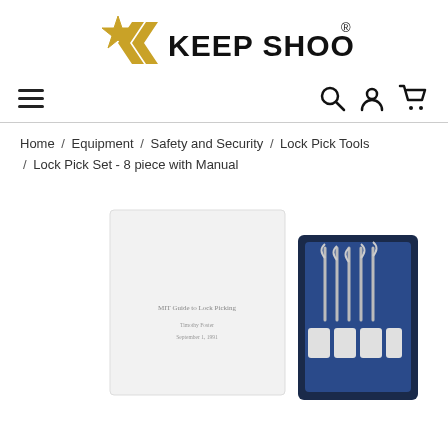[Figure (logo): Keep Shooting logo with gold star and double chevron arrows, bold black text 'KEEP SHOOTING' with registered trademark symbol]
[Figure (screenshot): Navigation bar with hamburger menu icon on left and search, account, cart icons on right]
Home / Equipment / Safety and Security / Lock Pick Tools / Lock Pick Set - 8 piece with Manual
[Figure (photo): Product photo showing a white booklet labeled 'MIT Guide to Lock Picking' alongside a set of lock pick tools in a blue/black carrying case]